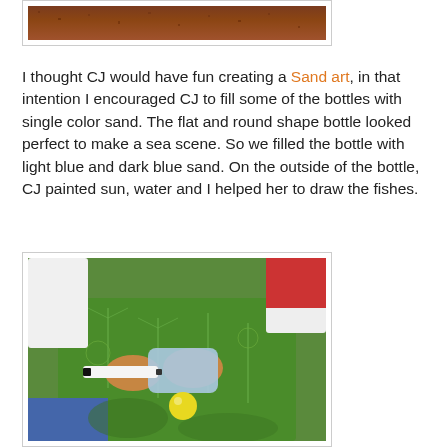[Figure (photo): Partial top image showing brown/reddish sandy texture, cropped at top of page]
I thought CJ would have fun creating a Sand art, in that intention I encouraged CJ to fill some of the bottles with single color sand. The flat and round shape bottle looked perfect to make a sea scene. So we filled the bottle with light blue and dark blue sand. On the outside of the bottle, CJ painted sun, water and I helped her to draw the fishes.
[Figure (photo): Child wearing a green apron with palm tree patterns, holding a blue flat bottle and drawing on it with a marker. A yellow round object is visible in the foreground.]